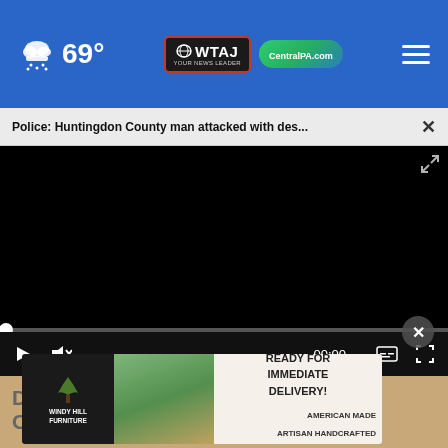69° | WTAJ Your News Leader | CentralPA.com
Police: Huntingdon County man attacked with des...
[Figure (screenshot): Black video player with progress bar and controls showing 00:00 timestamp, play button, mute button, captions button, and fullscreen button]
[Figure (screenshot): Advertisement banner for Windy Hill Furniture: IN STOCK ITEMS READY FOR IMMEDIATE DELIVERY! AMERICAN MADE ARTISAN HANDCRAFTED. LEARN MORE button.]
Doc
Crazy (Do Tonight)